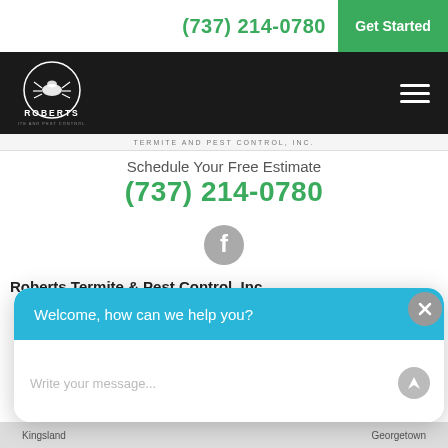(737) 214-0780
Get Started
[Figure (logo): Roberts Termite and Pest Control, Inc. logo with insect graphic in circle on dark background]
TERMITE AND PEST CONTROL, INC.
Schedule Your Free Estimate
(737) 214-0780
[Figure (illustration): Facebook social media icon - grey circle with white 'f' letter]
Roberts Termite & Pest Control, Inc.
Welcome, how can we help you?
Write your message...
Kingsland
Georgetown